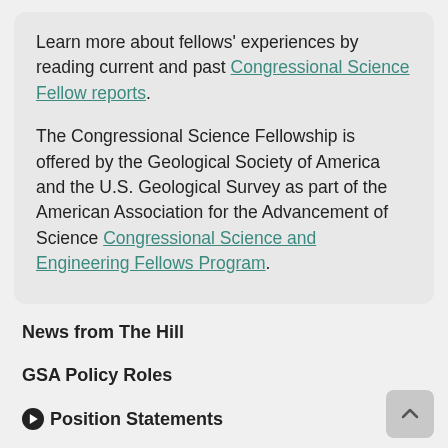Learn more about fellows' experiences by reading current and past Congressional Science Fellow reports.
The Congressional Science Fellowship is offered by the Geological Society of America and the U.S. Geological Survey as part of the American Association for the Advancement of Science Congressional Science and Engineering Fellows Program.
News from The Hill
GSA Policy Roles
Position Statements